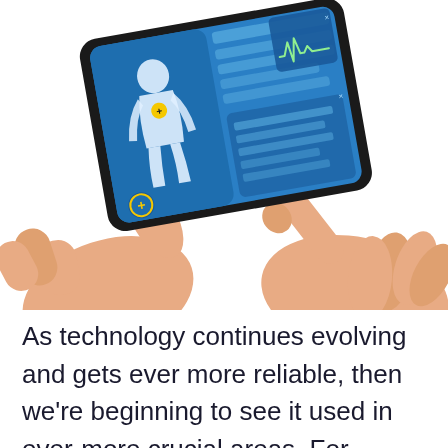[Figure (illustration): Illustration of two hands (skin-toned, flat design) holding a tablet device. The tablet screen shows a medical health app with a blue background: a white human body silhouette with a yellow dot on the chest area, a list/form panel with blue bars, and an ECG/heartbeat monitor waveform panel in the upper right. A finger from the right hand is touching the tablet screen. The overall style is a flat vector illustration.]
As technology continues evolving and gets ever more reliable, then we're beginning to see it used in ever-more crucial areas. For example, most of the healthcare and banking industries ran